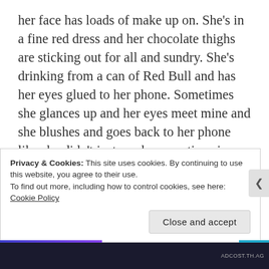her face has loads of make up on. She's in a fine red dress and her chocolate thighs are sticking out for all and sundry. She's drinking from a can of Red Bull and has her eyes glued to her phone. Sometimes she glances up and her eyes meet mine and she blushes and goes back to her phone like she didn't just awaken emotions in my heart (read: pants). She's not even eti cute or anything. She's just hot. I don't know if you guys get the difference? Like, say, Anita Nderu and Huddah Monroe. Anita Nderu is cute; her face looks like a cup of Vanilla ice cream, I would lick that baby till dawn. But Huddah Monroe is hot,
Privacy & Cookies: This site uses cookies. By continuing to use this website, you agree to their use.
To find out more, including how to control cookies, see here: Cookie Policy
Close and accept